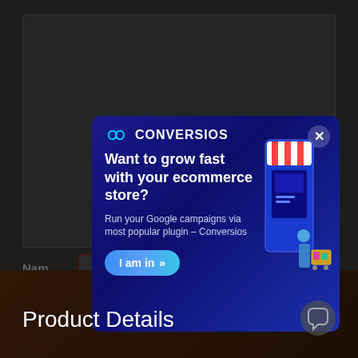[Figure (screenshot): Dark gray web page background with a textarea box, form fields (Name, Email, Website), and a post text area. A modal popup from Conversios overlays the page center.]
CONVERSIOS
Want to grow fast with your ecommerce store?
Run your Google campaigns via most popular plugin – Conversios
I am in »
Product Details